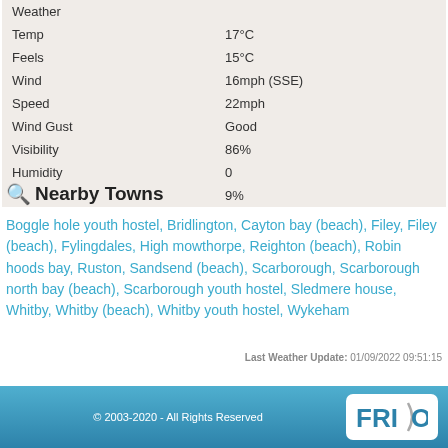| Weather |  |
| --- | --- |
| Temp | 17°C |
| Feels | 15°C |
| Wind | 16mph (SSE) |
| Speed | 22mph |
| Wind Gust | Good |
| Visibility | 86% |
| Humidity | 0 |
|  | 9% |
🔍 Nearby Towns
Boggle hole youth hostel, Bridlington, Cayton bay (beach), Filey, Filey (beach), Fylingdales, High mowthorpe, Reighton (beach), Robin hoods bay, Ruston, Sandsend (beach), Scarborough, Scarborough north bay (beach), Scarborough youth hostel, Sledmere house, Whitby, Whitby (beach), Whitby youth hostel, Wykeham
Last Weather Update: 01/09/2022 09:51:15
© 2003-2020 - All Rights Reserved